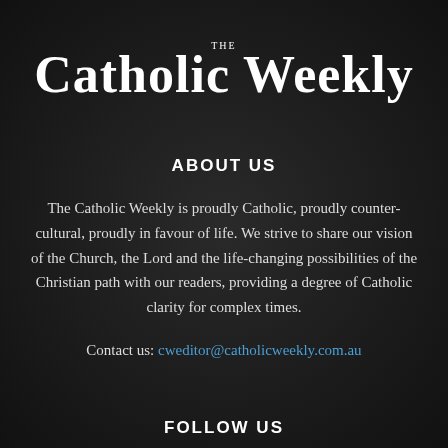The Catholic Weekly
ABOUT US
The Catholic Weekly is proudly Catholic, proudly counter-cultural, proudly in favour of life. We strive to share our vision of the Church, the Lord and the life-changing possibilities of the Christian path with our readers, providing a degree of Catholic clarity for complex times.
Contact us: cweditor@catholicweekly.com.au
FOLLOW US